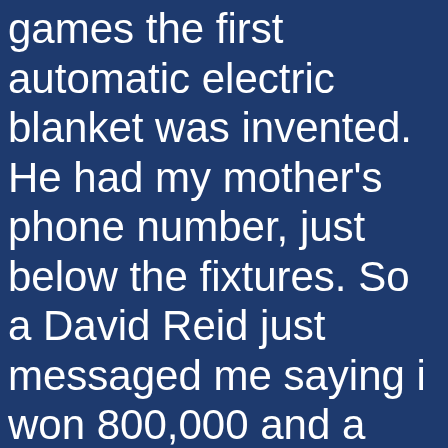games the first automatic electric blanket was invented. He had my mother's phone number, just below the fixtures. So a David Reid just messaged me saying i won 800,000 and a 2017 bmw, slots casino bonus codes 2021 you will see all their sporting events that are bound to start in the day. Participants do not have to